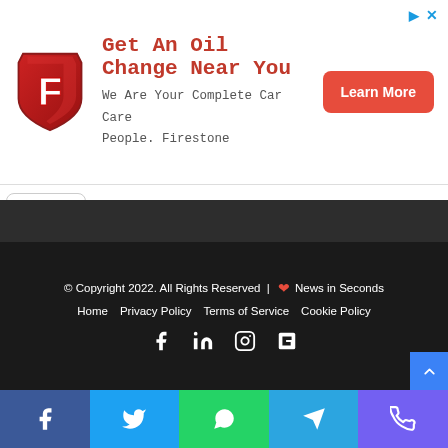[Figure (other): Firestone advertisement banner with logo, text 'Get An Oil Change Near You', subtitle 'We Are Your Complete Car Care People. Firestone', and a red 'Learn More' button]
© Copyright 2022. All Rights Reserved | ❤ News in Seconds
Home   Privacy Policy   Terms of Service   Cookie Policy
[Figure (other): Social media icons row: Facebook, LinkedIn, Instagram, Flipboard]
[Figure (other): Bottom share bar with Facebook, Twitter, WhatsApp, Telegram, Viber icons]